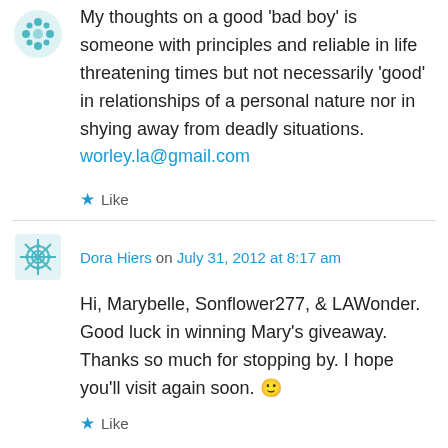My thoughts on a good 'bad boy' is someone with principles and reliable in life threatening times but not necessarily 'good' in relationships of a personal nature nor in shying away from deadly situations. worley.la@gmail.com
Like
Dora Hiers on July 31, 2012 at 8:17 am
Hi, Marybelle, Sonflower277, & LAWonder. Good luck in winning Mary's giveaway. Thanks so much for stopping by. I hope you'll visit again soon. 🙂
Like